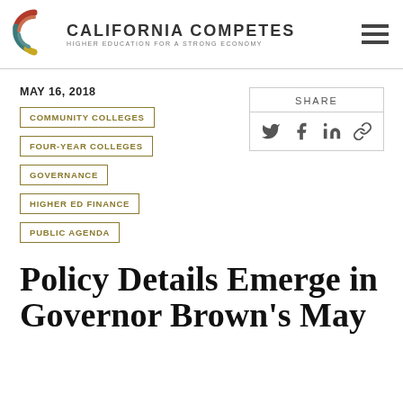[Figure (logo): California Competes logo with stylized C and text 'California Competes — Higher Education for a Strong Economy']
MAY 16, 2018
COMMUNITY COLLEGES
FOUR-YEAR COLLEGES
GOVERNANCE
HIGHER ED FINANCE
PUBLIC AGENDA
[Figure (infographic): Share box with Twitter, Facebook, LinkedIn, and link icons]
Policy Details Emerge in Governor Brown's May